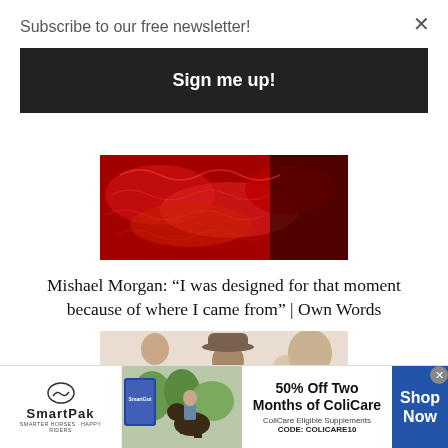Subscribe to our free newsletter!
[Figure (other): Sign me up button — dark button]
[Figure (photo): Close-up of red lace or embroidered fabric on dark background]
Mishael Morgan: “I was designed for that moment because of where I came from” | Own Words
[Figure (photo): Black and white/sepia photo of people, one wearing a brown fedora hat]
[Figure (other): SmartPak advertisement: 50% Off Two Months of ColiCare. ColiCare Eligible Supplements. CODE: COLICARE10. Shop Now.]